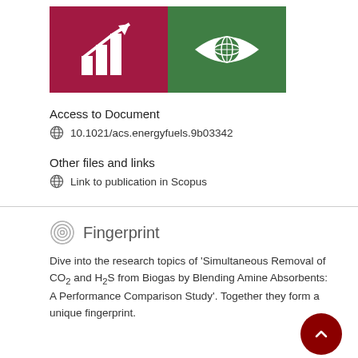[Figure (illustration): Two SDG icons side by side: a dark red/maroon square with a white bar chart and upward arrow (SDG 8 - Decent Work), and a green square with a white eye containing a globe (SDG 16 or similar).]
Access to Document
10.1021/acs.energyfuels.9b03342
Other files and links
Link to publication in Scopus
Fingerprint
Dive into the research topics of 'Simultaneous Removal of CO2 and H2S from Biogas by Blending Amine Absorbents: A Performance Comparison Study'. Together they form a unique fingerprint.